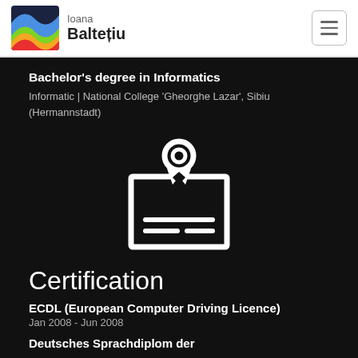Ioana Baltesiu
Bachelor's degree in Informatics
Informatic | National College 'Gheorghe Lazar', Sibiu (Hermannstadt)
[Figure (illustration): Certificate/diploma icon: a document with an award ribbon/medal on top, shown in white on dark background]
Certification
ECDL (European Computer Driving Licence)
Jan 2008 - Jun 2008
Deutsches Sprachdiplom der